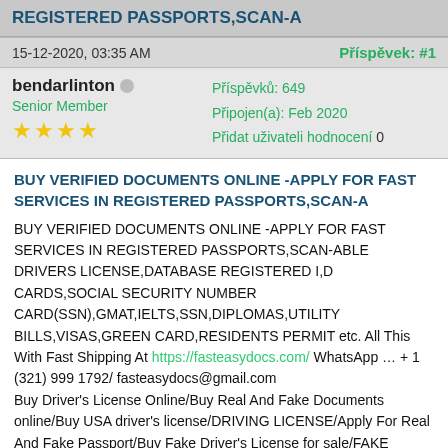REGISTERED PASSPORTS,SCAN-A
15-12-2020, 03:35 AM
Příspěvek: #1
bendarlinton  Senior Member ★★★★
Příspěvků: 649
Připojen(a): Feb 2020
Přidat uživateli hodnocení 0
BUY VERIFIED DOCUMENTS ONLINE -APPLY FOR FAST SERVICES IN REGISTERED PASSPORTS,SCAN-A
BUY VERIFIED DOCUMENTS ONLINE -APPLY FOR FAST SERVICES IN REGISTERED PASSPORTS,SCAN-ABLE DRIVERS LICENSE,DATABASE REGISTERED I,D CARDS,SOCIAL SECURITY NUMBER CARD(SSN),GMAT,IELTS,SSN,DIPLOMAS,UTILITY BILLS,VISAS,GREEN CARD,RESIDENTS PERMIT etc. All This With Fast Shipping At https://fasteasydocs.com/ WhatsApp … + 1 (321) 999 1792/ fasteasydocs@gmail.com
Buy Driver's License Online/Buy Real And Fake Documents online/Buy USA driver's license/DRIVING LICENSE/Apply For Real And Fake Passport/Buy Fake Driver's License for sale/FAKE DOCUMENTS ONLINE/Buy SSN for sale/
Welcome to Fast Easy Docs Online